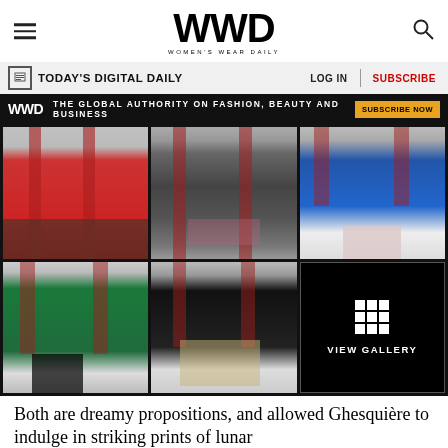WWD — WOMEN'S WEAR DAILY
TODAY'S DIGITAL DAILY   LOG IN   SUBSCRIBE
WWD THE GLOBAL AUTHORITY ON FASHION, BEAUTY AND BUSINESS   SUBSCRIBE NOW
[Figure (photo): Six fashion runway photos in a 3x2 grid showing models from the waist down wearing various Louis Vuitton looks — red coat, patterned skirt, blue dress, green coat, black ensemble — set against red architectural columns. Sixth cell shows a 'VIEW GALLERY' button with grid icon.]
Both are dreamy propositions, and allowed Ghesquière to indulge in striking prints of lunar